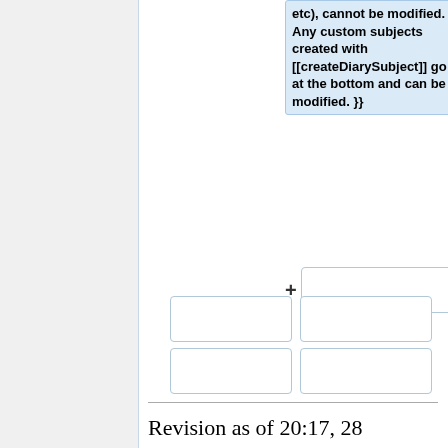etc), cannot be modified. Any custom subjects created with [[createDiarySubject]] go at the bottom and can be modified. }}
Revision as of 20:17, 28 January 2021
WIP
Fixed Subjects: Tasks, Diary, Units, Players, Statistics